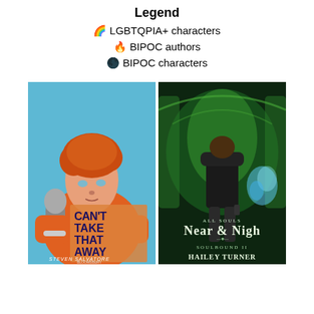Legend
🌈 LGBTQPIA+ characters
🔥 BIPOC authors
🌑 BIPOC characters
[Figure (illustration): Book cover of 'Can't Take That Away' by Steven Salvatore — illustrated cover showing a red-haired youth holding a microphone, wearing an orange jacket, with bold dark text on the cover.]
[Figure (illustration): Book cover of 'All Souls Near & Nigh: Soulbound II' by Hailey Turner — fantasy cover showing a figure in a black jacket with glowing blue smoke, set against a green-tinted ornate building.]